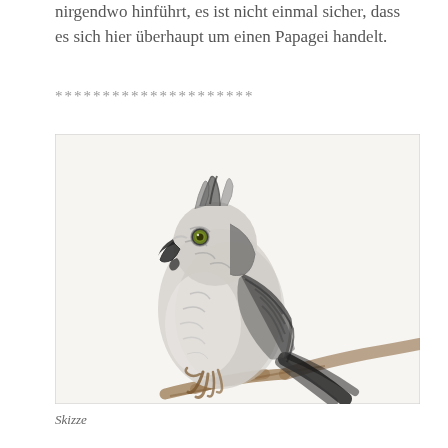nirgendwo hinführt, es ist nicht einmal sicher, dass es sich hier überhaupt um einen Papagei handelt.
*********************
[Figure (illustration): Pencil/charcoal sketch of a parrot perched on a branch, with a single green eye visible, rendered in black and white with subtle shading on a light background.]
Skizze